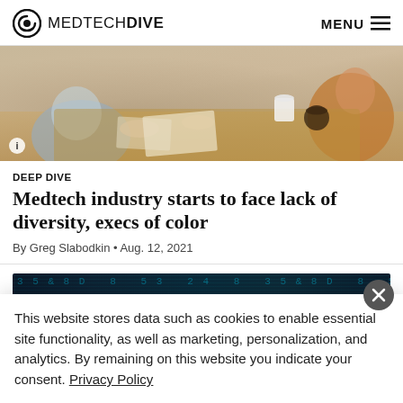MEDTECHDIVE  MENU
[Figure (photo): People sitting around a wooden table in a meeting, hands visible, coffee cups and papers on the table.]
DEEP DIVE
Medtech industry starts to face lack of diversity, execs of color
By Greg Slabodkin • Aug. 12, 2021
[Figure (screenshot): Dark teal banner with matrix-style green/cyan numbers and characters, appears to be an advertisement.]
This website stores data such as cookies to enable essential site functionality, as well as marketing, personalization, and analytics. By remaining on this website you indicate your consent. Privacy Policy